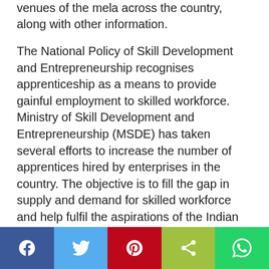venues of the mela across the country, along with other information.
The National Policy of Skill Development and Entrepreneurship recognises apprenticeship as a means to provide gainful employment to skilled workforce. Ministry of Skill Development and Entrepreneurship (MSDE) has taken several efforts to increase the number of apprentices hired by enterprises in the country. The objective is to fill the gap in supply and demand for skilled workforce and help fulfil the aspirations of the Indian youth through on-the-job training and meaningful job opportunities.
[Figure (other): Social sharing bar with five buttons: Facebook (blue), Twitter (light blue), Pinterest (red), Share (green-yellow), WhatsApp (green)]